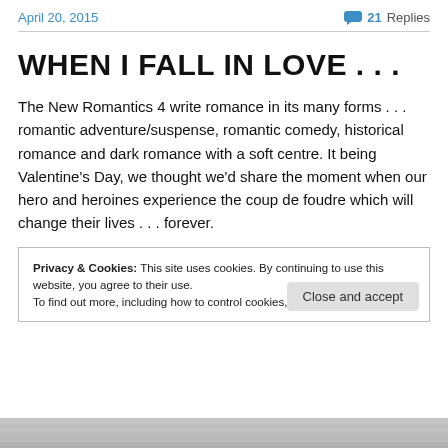April 20, 2015 | 21 Replies
WHEN I FALL IN LOVE . . .
The New Romantics 4 write romance in its many forms . . . romantic adventure/suspense, romantic comedy, historical romance and dark romance with a soft centre. It being Valentine's Day, we thought we'd share the moment when our hero and heroines experience the coup de foudre which will change their lives . . . forever.
Privacy & Cookies: This site uses cookies. By continuing to use this website, you agree to their use. To find out more, including how to control cookies, see here: Cookie Policy
[Figure (photo): Partial image at bottom of page, appears to be a decorative photograph]